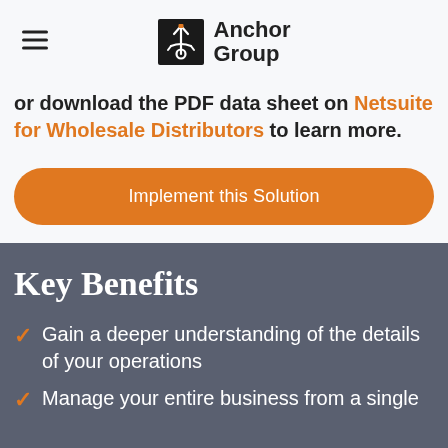Anchor Group
or download the PDF data sheet on Netsuite for Wholesale Distributors to learn more.
Implement this Solution
Key Benefits
Gain a deeper understanding of the details of your operations
Manage your entire business from a single